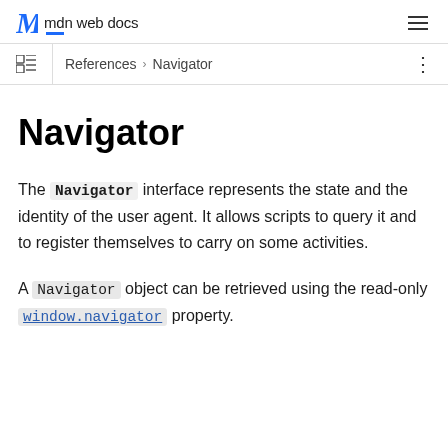mdn web docs
References > Navigator
Navigator
The Navigator interface represents the state and the identity of the user agent. It allows scripts to query it and to register themselves to carry on some activities.
A Navigator object can be retrieved using the read-only window.navigator property.